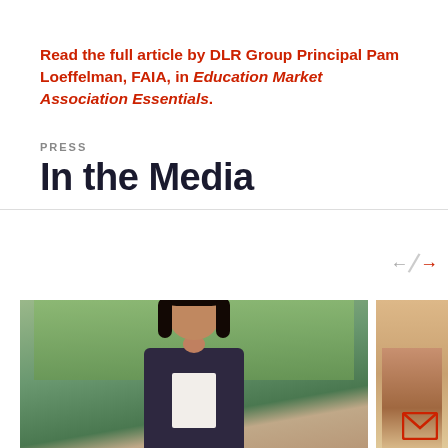Read the full article by DLR Group Principal Pam Loeffelman, FAIA, in Education Market Association Essentials.
PRESS
In the Media
[Figure (photo): Professional woman smiling in a modern interior with large windows and green trees visible outside. She is wearing a dark blazer over a white shirt.]
[Figure (photo): Partial view of another photo on the right side, cropped.]